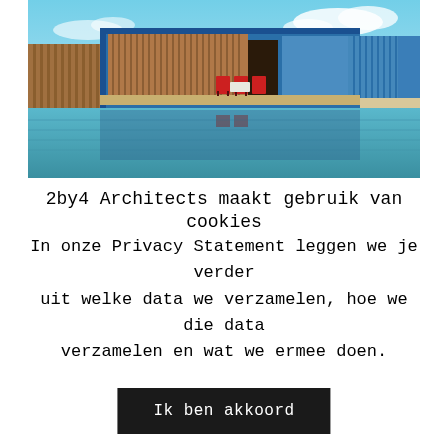[Figure (photo): Exterior photo of a modern modular building with blue steel frame and vertical wood cladding, red chairs on a deck, reflected in still water, with a bright blue sky and clouds in the background.]
2by4 Architects maakt gebruik van cookies
In onze Privacy Statement leggen we je verder uit welke data we verzamelen, hoe we die data verzamelen en wat we ermee doen.
Ik ben akkoord